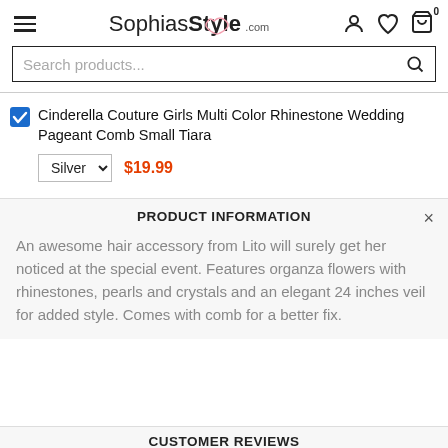SophiasStyle.com
Search products...
Cinderella Couture Girls Multi Color Rhinestone Wedding Pageant Comb Small Tiara
Silver  $19.99
PRODUCT INFORMATION
An awesome hair accessory from Lito will surely get her noticed at the special event. Features organza flowers with rhinestones, pearls and crystals and an elegant 24 inches veil for added style. Comes with comb for a better fix.
CUSTOMER REVIEWS